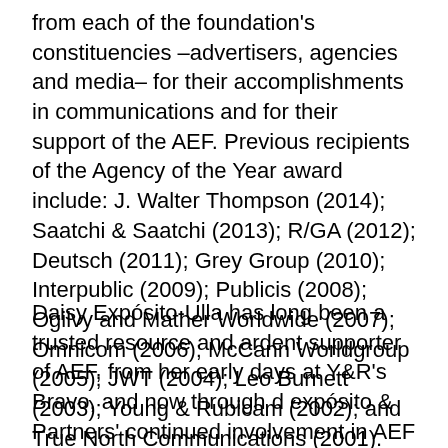from each of the foundation's constituencies –advertisers, agencies and media– for their accomplishments in communications and for their support of the AEF. Previous recipients of the Agency of the Year award include: J. Walter Thompson (2014); Saatchi & Saatchi (2013); R/GA (2012); Deutsch (2011); Grey Group (2010); Interpublic (2009); Publicis (2008); Ogilvy and Mather Worldwide (2007); Omnicom (2006); McCann Worldgroup (2005); JWT (2004); Leo Burnett (2003); Young & Rubicam (2002); and True North Communications (2001).
Daisy Expósito-Ulla has long been a trusted resource and ardent supporter of AEF, from her early days at Y&R's Bravo, and now through d expósito & Partners' continued involvement in AEF programs and activities, and her participation as a member of the AEF Board of Directors.